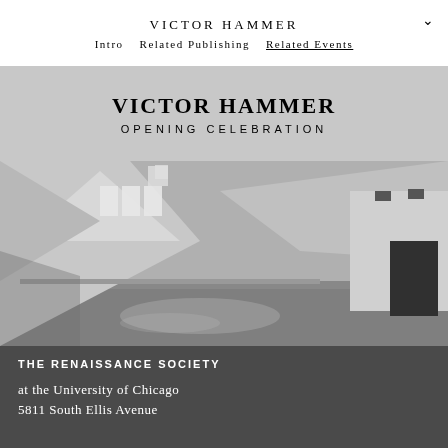VICTOR HAMMER
Intro   Related Publishing   Related Events
VICTOR HAMMER
OPENING CELEBRATION
[Figure (photo): Black and white interior photograph of an empty gallery space with angled skylights, wooden floors, white walls, and an open doorway on the right.]
THE RENAISSANCE SOCIETY

at the University of Chicago
5811 South Ellis Avenue